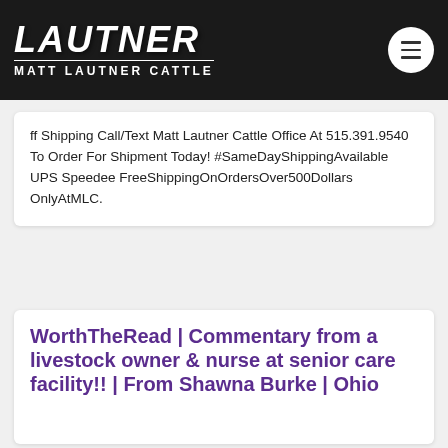[Figure (logo): Matt Lautner Cattle logo in white italic bold text on dark background with 'MATT LAUTNER CATTLE' subtitle]
ff Shipping Call/Text Matt Lautner Cattle Office At 515.391.9540 To Order For Shipment Today! #SameDayShippingAvailable UPS Speedee FreeShippingOnOrdersOver500Dollars OnlyAtMLC.
WorthTheRead | Commentary from a livestock owner & nurse at senior care facility!! | From Shawna Burke | Ohio